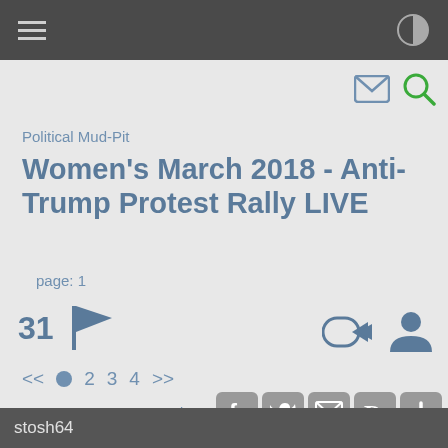Political Mud-Pit
Women's March 2018 - Anti-Trump Protest Rally LIVE
page: 1
31
<< 1 2 3 4 >>
share:
stosh64